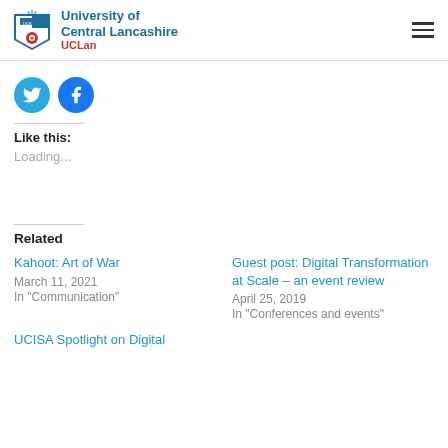University of Central Lancashire UCLan
[Figure (logo): UCLan university crest logo and wordmark]
[Figure (infographic): Twitter and Facebook social share buttons (circular blue icons)]
Like this:
Loading...
Related
Kahoot: Art of War
March 11, 2021
In "Communication"
Guest post: Digital Transformation at Scale – an event review
April 25, 2019
In "Conferences and events"
UCISA Spotlight on Digital